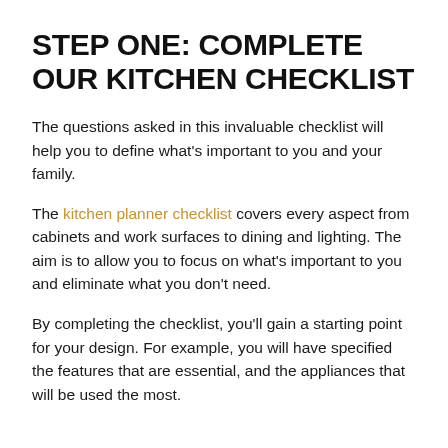STEP ONE: COMPLETE OUR KITCHEN CHECKLIST
The questions asked in this invaluable checklist will help you to define what's important to you and your family.
The kitchen planner checklist covers every aspect from cabinets and work surfaces to dining and lighting. The aim is to allow you to focus on what's important to you and eliminate what you don't need.
By completing the checklist, you'll gain a starting point for your design. For example, you will have specified the features that are essential, and the appliances that will be used the most.